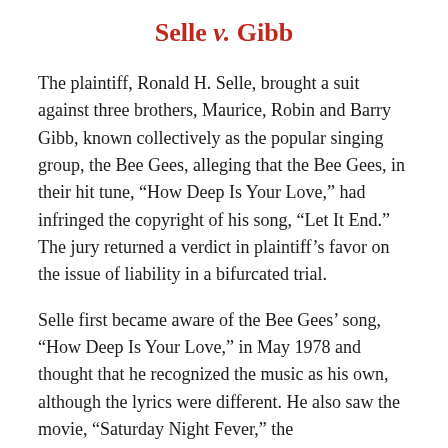Selle v. Gibb
The plaintiff, Ronald H. Selle, brought a suit against three brothers, Maurice, Robin and Barry Gibb, known collectively as the popular singing group, the Bee Gees, alleging that the Bee Gees, in their hit tune, “How Deep Is Your Love,” had infringed the copyright of his song, “Let It End.” The jury returned a verdict in plaintiff’s favor on the issue of liability in a bifurcated trial.
Selle first became aware of the Bee Gees’ song, “How Deep Is Your Love,” in May 1978 and thought that he recognized the music as his own, although the lyrics were different. He also saw the movie, “Saturday Night Fever,” the